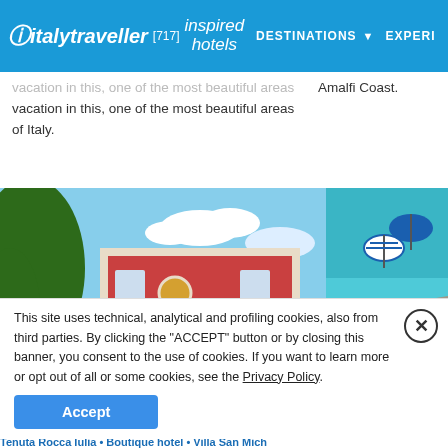italytraveller [717] inspired hotels DESTINATIONS ▾ EXPER
vacation in this, one of the most beautiful areas of Italy.
Amalfi Coast.
[Figure (photo): Red villa building exterior with stairs and tree, Amalfi coast area]
[Figure (photo): Aerial view of rocky coastline with beach umbrellas and turquoise water]
This site uses technical, analytical and profiling cookies, also from third parties. By clicking the "ACCEPT" button or by closing this banner, you consent to the use of cookies. If you want to learn more or opt out of all or some cookies, see the Privacy Policy.
Accept